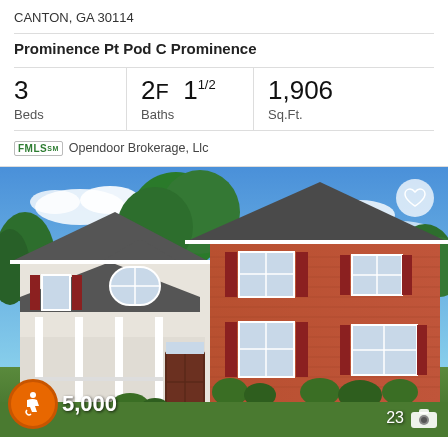CANTON, GA 30114
Prominence Pt Pod C Prominence
| Beds | Baths | Sq.Ft. |
| --- | --- | --- |
| 3 | 2F 1 1/2 | 1,906 |
FMLS  Opendoor Brokerage, Llc
[Figure (photo): Two-story brick colonial house with white siding accents, covered front porch with columns, red shutters, green lawn and trees, blue sky with clouds.]
5,000
23